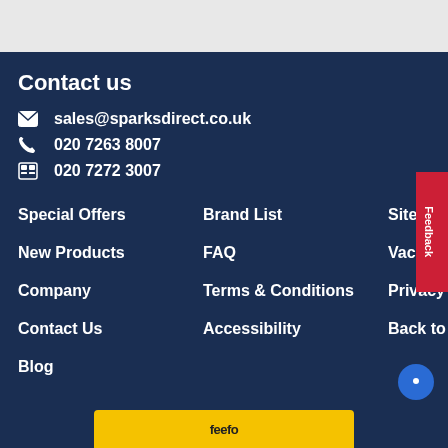Contact us
sales@sparksdirect.co.uk
020 7263 8007
020 7272 3007
Special Offers
Brand List
Site Map
New Products
FAQ
Vacancies
Company
Terms & Conditions
Privacy Notice
Contact Us
Accessibility
Back to top ↑
Blog
feefo